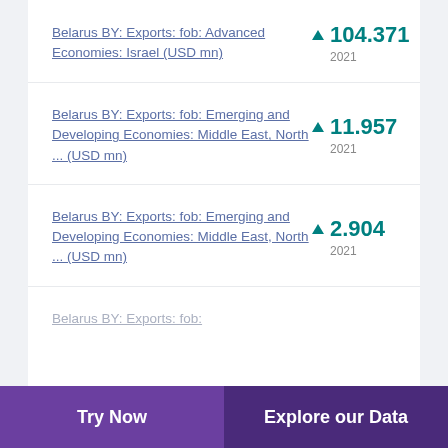Belarus BY: Exports: fob: Advanced Economies: Israel (USD mn)
Belarus BY: Exports: fob: Emerging and Developing Economies: Middle East, North ... (USD mn)
Belarus BY: Exports: fob: Emerging and Developing Economies: Middle East, North ... (USD mn)
Belarus BY: Exports: fob:
Try Now | Explore our Data